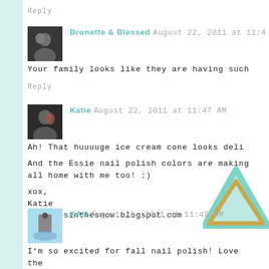Reply
Brunette & Blessed August 22, 2011 at 11:4
Your family looks like they are having such
Reply
Katie August 22, 2011 at 11:47 AM
Ah! That huuuuge ice cream cone looks deli
And the Essie nail polish colors are making all home with me too! :)
xox,
Katie
sparklesinthesnow.blogspot.com
Reply
KAH August 22, 2011 at 11:49 AM
I'm so excited for fall nail polish! Love the